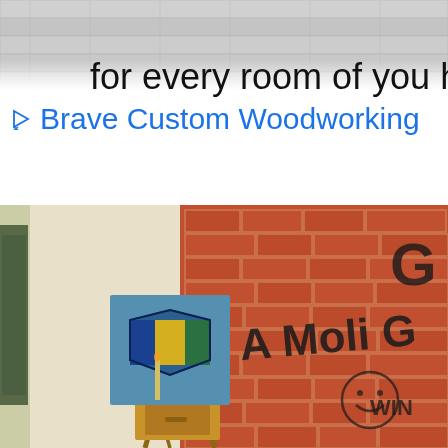[Figure (screenshot): Advertisement banner with wood plank background texture at top. Shows partial text 'for every room of you ho' in large dark font, and below it in blue 'Brave Custom Woodworking' with a play/ad icon on the left.]
[Figure (photo): Interior room photo showing a wooden artist easel holding a blue canvas with a painted shield/crest design. Behind it is a brick wall with graffiti-style text reading 'A Moli G' and a smiley face drawn on the bricks. The room has beige/cream painted walls on the left side.]